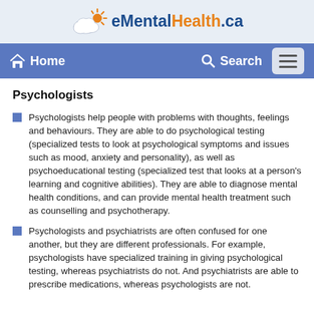eMentalHealth.ca
Home  Search
Psychologists
Psychologists help people with problems with thoughts, feelings and behaviours. They are able to do psychological testing (specialized tests to look at psychological symptoms and issues such as mood, anxiety and personality), as well as psychoeducational testing (specialized test that looks at a person's learning and cognitive abilities). They are able to diagnose mental health conditions, and can provide mental health treatment such as counselling and psychotherapy.
Psychologists and psychiatrists are often confused for one another, but they are different professionals. For example, psychologists have specialized training in giving psychological testing, whereas psychiatrists do not. And psychiatrists are able to prescribe medications, whereas psychologists are not.